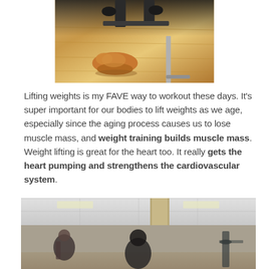[Figure (photo): A cat lying on a wooden floor near gym equipment, viewed from above. Dark weights and metal bars visible at top.]
Lifting weights is my FAVE way to workout these days. It's super important for our bodies to lift weights as we age, especially since the aging process causes us to lose muscle mass, and weight training builds muscle mass. Weight lifting is great for the heart too. It really gets the heart pumping and strengthens the cardiovascular system.
[Figure (photo): A gym interior with dropped ceiling, a large pillar, and people working out. Partial view of gym equipment and person visible at bottom of frame.]